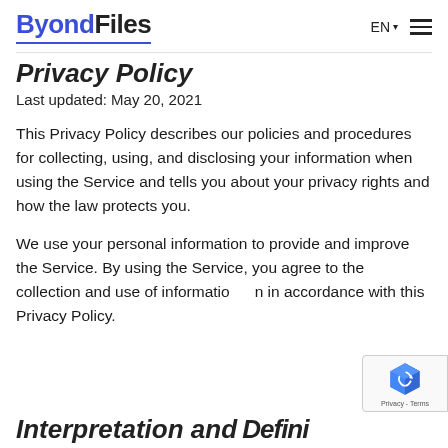ByondFiles | EN | menu
Privacy Policy
Last updated: May 20, 2021
This Privacy Policy describes our policies and procedures for collecting, using, and disclosing your information when using the Service and tells you about your privacy rights and how the law protects you.
We use your personal information to provide and improve the Service. By using the Service, you agree to the collection and use of information in accordance with this Privacy Policy.